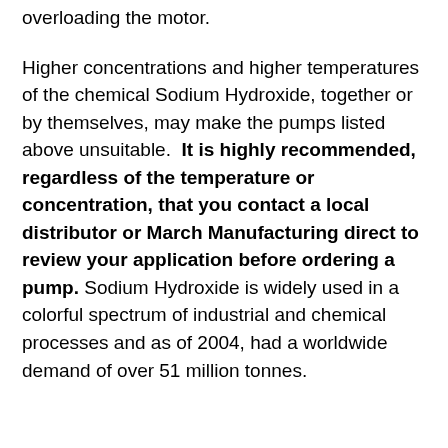overloading the motor.
Higher concentrations and higher temperatures of the chemical Sodium Hydroxide, together or by themselves, may make the pumps listed above unsuitable. It is highly recommended, regardless of the temperature or concentration, that you contact a local distributor or March Manufacturing direct to review your application before ordering a pump. Sodium Hydroxide is widely used in a colorful spectrum of industrial and chemical processes and as of 2004, had a worldwide demand of over 51 million tonnes.